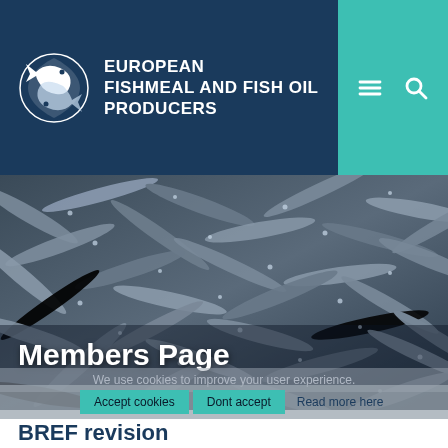[Figure (logo): European Fishmeal and Fish Oil Producers logo — white fish circle icon and text on dark navy background]
EUROPEAN FISHMEAL AND FISH OIL PRODUCERS
[Figure (photo): Overhead photo of a large pile of small silver fish (anchovies/sardines)]
Members Page
We use cookies to improve your user experience.
Accept cookies   Dont accept   Read more here
BREF revision